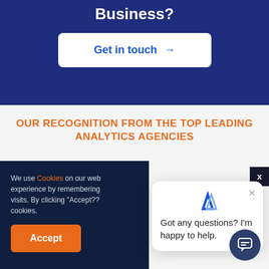Business?
[Figure (screenshot): Get in touch button with arrow on blue background]
OUR RECOGNITION FROM THE TOP LEADING ANALYTICS AGENCIES
We use Cookies on our web... experience by remembering... visits. By clicking "Accept??... cookies.
Got any questions? I'm happy to help.